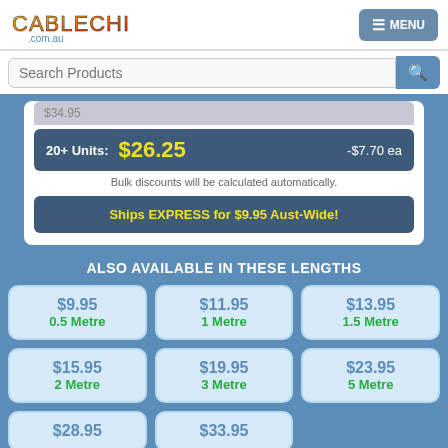CableChick.com.au | MENU
Search Products
| Units | Price | Savings |
| --- | --- | --- |
| 20+ Units: | $26.25 | -$7.70 ea |
Bulk discounts will be calculated automatically.
Ships EXPRESS for $9.95 Aust-Wide!
ALSO AVAILABLE IN THESE LENGTHS
$9.95 — 0.5 Metre
$11.95 — 1 Metre
$13.95 — 1.5 Metre
$15.95 — 2 Metre
$19.95 — 3 Metre
$23.95 — 5 Metre
$28.95
$33.95